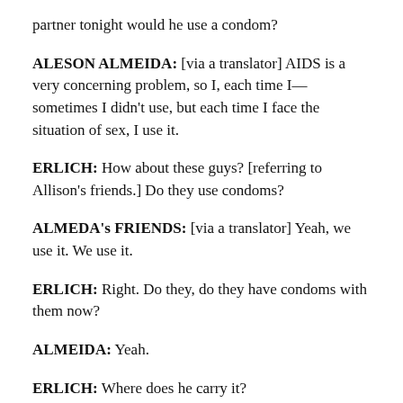partner tonight would he use a condom?
ALESON ALMEIDA: [via a translator] AIDS is a very concerning problem, so I, each time I—sometimes I didn't use, but each time I face the situation of sex, I use it.
ERLICH: How about these guys? [referring to Allison's friends.] Do they use condoms?
ALMEDA's FRIENDS: [via a translator] Yeah, we use it. We use it.
ERLICH: Right. Do they, do they have condoms with them now?
ALMEIDA: Yeah.
ERLICH: Where does he carry it?